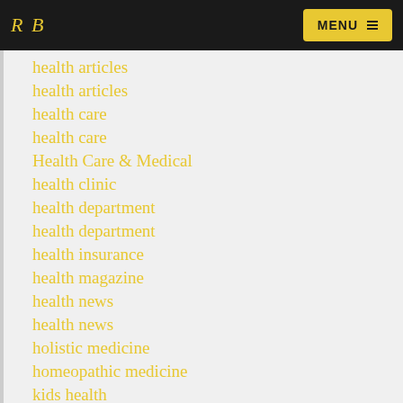RB  MENU
health articles
health articles
health care
health care
Health Care & Medical
health clinic
health department
health department
health insurance
health magazine
health news
health news
holistic medicine
homeopathic medicine
kids health
medical school
Medicine